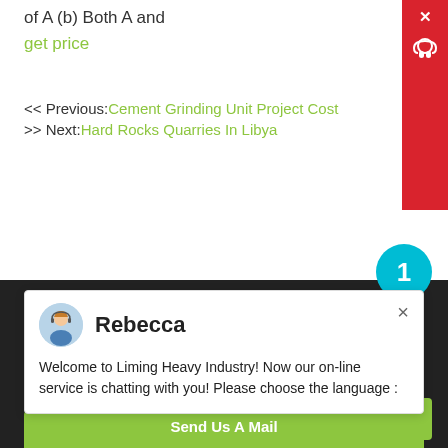of A (b) Both A and
get price
<< Previous:Cement Grinding Unit Project Cost
>> Next:Hard Rocks Quarries In Libya
[Figure (screenshot): Chat popup from Rebecca: Welcome to Liming Heavy Industry! Now our on-line service is chatting with you! Please choose the language :]
1
Give Us A Call: +86 86162511
Send Us A Mail